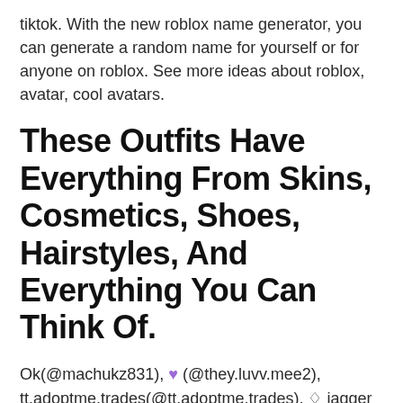tiktok. With the new roblox name generator, you can generate a random name for yourself or for anyone on roblox. See more ideas about roblox, avatar, cool avatars.
These Outfits Have Everything From Skins, Cosmetics, Shoes, Hairstyles, And Everything You Can Think Of.
Ok(@machukz831), 💜 (@they.luvv.mee2), tt.adoptme.trades(@tt.adoptme.trades), ♢ jagger ♢(@jaggerthejag), big.avocado(@big.avocado). Sign up and start having fun! Good post, approved by